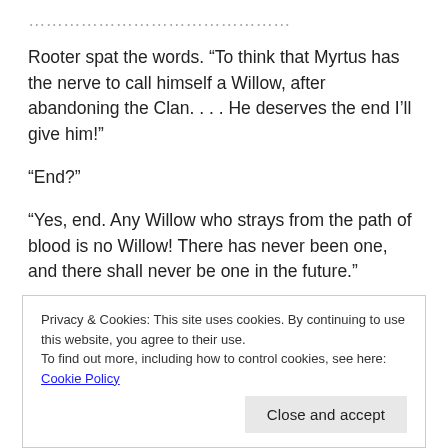Rooter spat the words. “To think that Myrtus has the nerve to call himself a Willow, after abandoning the Clan. . . . He deserves the end I’ll give him!”
“End?”
“Yes, end. Any Willow who strays from the path of blood is no Willow! There has never been one, and there shall never be one in the future.”
R...
Privacy & Cookies: This site uses cookies. By continuing to use this website, you agree to their use.
To find out more, including how to control cookies, see here: Cookie Policy
Close and accept